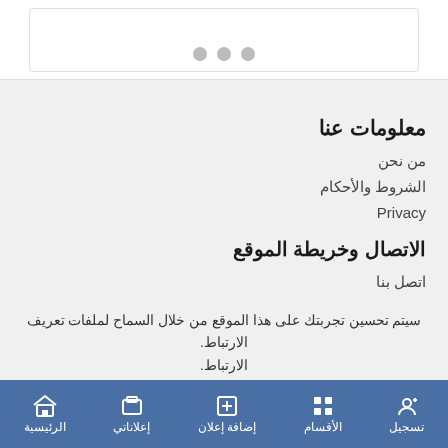[Figure (screenshot): Slider/carousel box with three grey dots at bottom indicating pagination]
معلومات عنا
من نحن
الشروط والأحكام
Privacy
الاتصال وخريطة الموقع
اتصل بنا
سيتم تحسين تجربتك على هذا الموقع من خلال السماح لملفات تعريف الارتباط.
استعرض
الرئيسية | إعلاناتي | إضافة إعلان | الأقسام | تسجيل